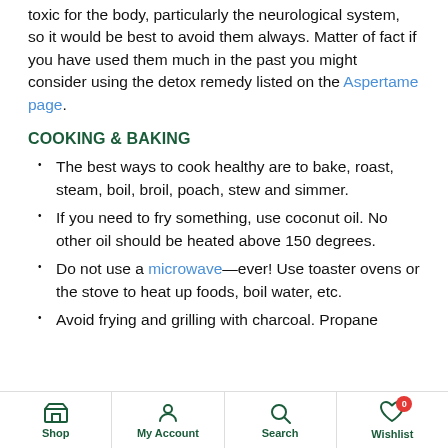toxic for the body, particularly the neurological system, so it would be best to avoid them always. Matter of fact if you have used them much in the past you might consider using the detox remedy listed on the Aspertame page.
COOKING & BAKING
The best ways to cook healthy are to bake, roast, steam, boil, broil, poach, stew and simmer.
If you need to fry something, use coconut oil. No other oil should be heated above 150 degrees.
Do not use a microwave—ever! Use toaster ovens or the stove to heat up foods, boil water, etc.
Avoid frying and grilling with charcoal. Propane
Shop | My Account | Search | Wishlist